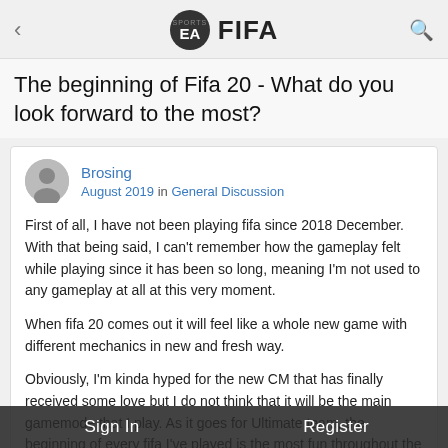EA SPORTS FIFA
The beginning of Fifa 20 - What do you look forward to the most?
Brosing
August 2019 in General Discussion
First of all, I have not been playing fifa since 2018 December. With that being said, I can't remember how the gameplay felt while playing since it has been so long, meaning I'm not used to any gameplay at all at this very moment.

When fifa 20 comes out it will feel like a whole new game with different mechanics in new and fresh way.

Obviously, I'm kinda hyped for the new CM that has finally received some love but I do not think that it will be the main gamemode that I play. As it goes for Ultimate team, the beginning of every fifa I've played is the most fun throughout the year. So, You might wonder why? Well, this is the time
Sign In    Register